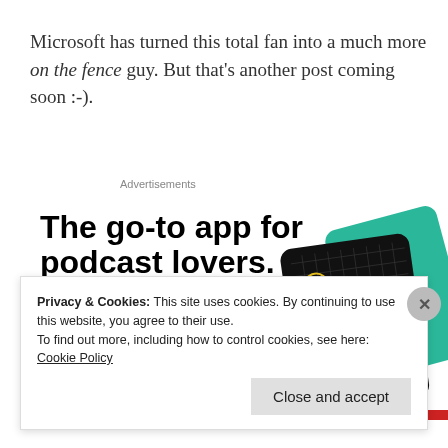Microsoft has turned this total fan into a much more on the fence guy. But that's another post coming soon :-).
Advertisements
[Figure (infographic): Advertisement for a podcast app. Headline: 'The go-to app for podcast lovers.' with a 'Download now' link in red. Shows smartphone screens with podcast artwork including '99% Invisible'.]
Privacy & Cookies: This site uses cookies. By continuing to use this website, you agree to their use.
To find out more, including how to control cookies, see here: Cookie Policy
Close and accept